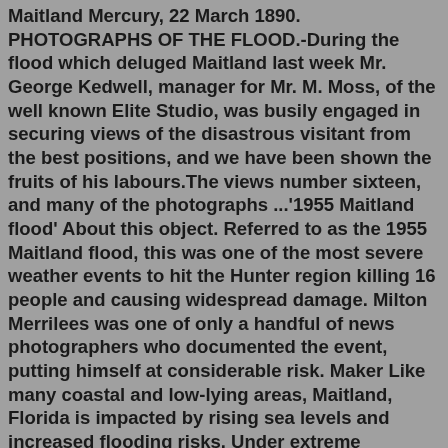Maitland Mercury, 22 March 1890. PHOTOGRAPHS OF THE FLOOD.-During the flood which deluged Maitland last week Mr. George Kedwell, manager for Mr. M. Moss, of the well known Elite Studio, was busily engaged in securing views of the disastrous visitant from the best positions, and we have been shown the fruits of his labours.The views number sixteen, and many of the photographs ...'1955 Maitland flood' About this object. Referred to as the 1955 Maitland flood, this was one of the most severe weather events to hit the Hunter region killing 16 people and causing widespread damage. Milton Merrilees was one of only a handful of news photographers who documented the event, putting himself at considerable risk. Maker Like many coastal and low-lying areas, Maitland, Florida is impacted by rising sea levels and increased flooding risks. Under extreme conditions, NOAA estimates that by 2040, 6.01% of the buildings in Maitland, Florida could be permanently underwater. As a result,